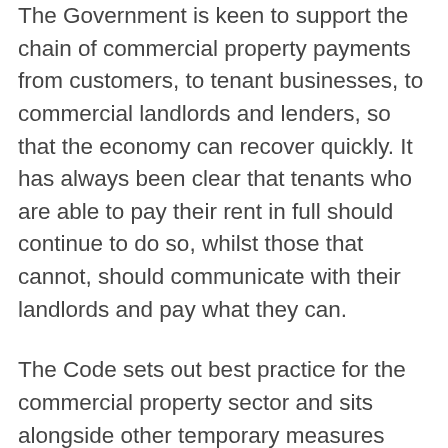The Government is keen to support the chain of commercial property payments from customers, to tenant businesses, to commercial landlords and lenders, so that the economy can recover quickly. It has always been clear that tenants who are able to pay their rent in full should continue to do so, whilst those that cannot, should communicate with their landlords and pay what they can.
The Code sets out best practice for the commercial property sector and sits alongside other temporary measures designed to give tenant businesses breathing space to create a sustainable